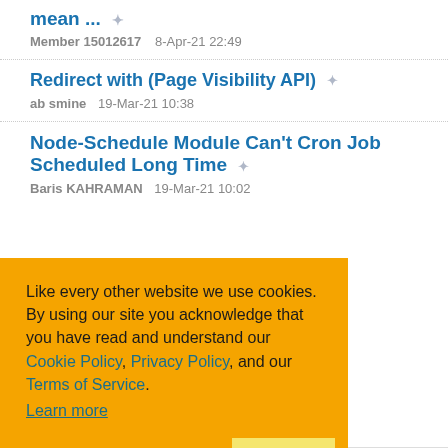mean ...
Member 15012617   8-Apr-21 22:49
Redirect with (Page Visibility API)
ab smine   19-Mar-21 10:38
Node-Schedule Module Can't Cron Job Scheduled Long Time
Baris KAHRAMAN   19-Mar-21 10:02
Like every other website we use cookies. By using our site you acknowledge that you have read and understand our Cookie Policy, Privacy Policy, and our Terms of Service.
Learn more
Ask me later   Decline   Allow cookies